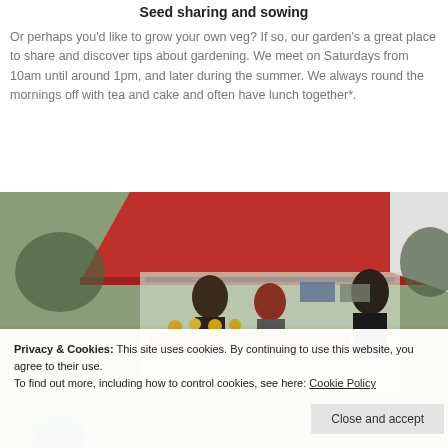Seed sharing and sowing
Or perhaps you'd like to grow your own veg? If so, our garden's a great place to share and discover tips about gardening. We meet on Saturdays from 10am until around 1pm, and later during the summer. We always round the mornings off with tea and cake and often have lunch together*.
[Figure (photo): Outdoor market or seed sharing event under a red canopy tent, with people browsing plants and seeds. A greenhouse structure is visible in the background along with parked cars and green fields.]
Privacy & Cookies: This site uses cookies. By continuing to use this website, you agree to their use.
To find out more, including how to control cookies, see here: Cookie Policy
Close and accept